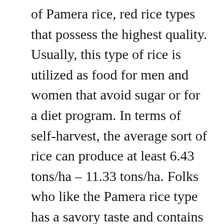of Pamera rice, red rice types that possess the highest quality. Usually, this type of rice is utilized as food for men and women that avoid sugar or for a diet program. In terms of self-harvest, the average sort of rice can produce at least 6.43 tons/ha – 11.33 tons/ha. Folks who like the Pamera rice type has a savory taste and contains a small sweetness.